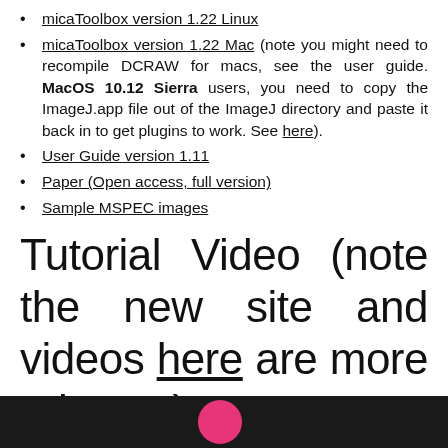micaToolbox version 1.22 Linux
micaToolbox version 1.22 Mac (note you might need to recompile DCRAW for macs, see the user guide. MacOS 10.12 Sierra users, you need to copy the ImageJ.app file out of the ImageJ directory and paste it back in to get plugins to work. See here).
User Guide version 1.11
Paper (Open access, full version)
Sample MSPEC images
Tutorial Video (note the new site and videos here are more relevant)
[Figure (screenshot): Dark video thumbnail strip at the bottom of the page showing a pink/magenta circle on a dark background]